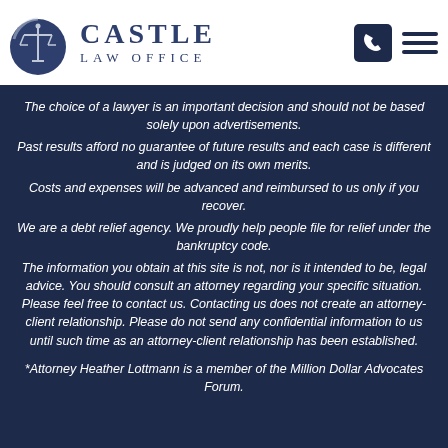[Figure (logo): Castle Law Office logo with scales of justice icon and text 'CASTLE LAW OFFICE']
The choice of a lawyer is an important decision and should not be based solely upon advertisements.
Past results afford no guarantee of future results and each case is different and is judged on its own merits.
Costs and expenses will be advanced and reimbursed to us only if you recover.
We are a debt relief agency.  We proudly help people file for relief under the bankruptcy code.
The information you obtain at this site is not, nor is it intended to be, legal advice. You should consult an attorney regarding your specific situation. Please feel free to contact us. Contacting us does not create an attorney-client relationship. Please do not send any confidential information to us until such time as an attorney-client relationship has been established.
*Attorney Heather Lottmann is a member of the Million Dollar Advocates Forum.